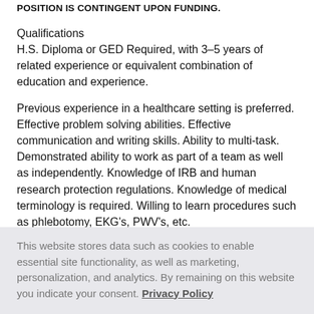POSITION IS CONTINGENT UPON FUNDING.
Qualifications
H.S. Diploma or GED Required, with 3-5 years of related experience or equivalent combination of education and experience.
Previous experience in a healthcare setting is preferred. Effective problem solving abilities. Effective communication and writing skills. Ability to multi-task. Demonstrated ability to work as part of a team as well as independently. Knowledge of IRB and human research protection regulations. Knowledge of medical terminology is required. Willing to learn procedures such as phlebotomy, EKG's, PWV's, etc.
This website stores data such as cookies to enable essential site functionality, as well as marketing, personalization, and analytics. By remaining on this website you indicate your consent. Privacy Policy